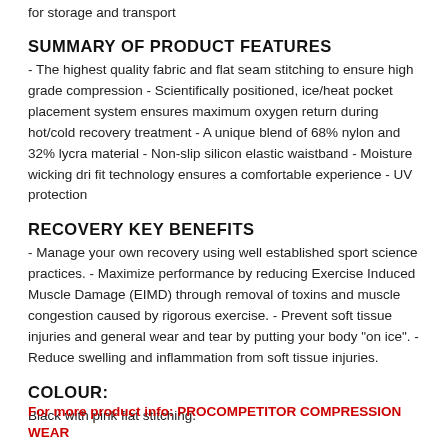for storage and transport
SUMMARY OF PRODUCT FEATURES
- The highest quality fabric and flat seam stitching to ensure high grade compression - Scientifically positioned, ice/heat pocket placement system ensures maximum oxygen return during hot/cold recovery treatment - A unique blend of 68% nylon and 32% lycra material - Non-slip silicon elastic waistband - Moisture wicking dri fit technology ensures a comfortable experience - UV protection
RECOVERY KEY BENEFITS
- Manage your own recovery using well established sport science practices. - Maximize performance by reducing Exercise Induced Muscle Damage (EIMD) through removal of toxins and muscle congestion caused by rigorous exercise. - Prevent soft tissue injuries and general wear and tear by putting your body "on ice". - Reduce swelling and inflammation from soft tissue injuries.
COLOUR:
Black with pink flat stitching.
For more product info: PROCOMPETITOR COMPRESSION WEAR